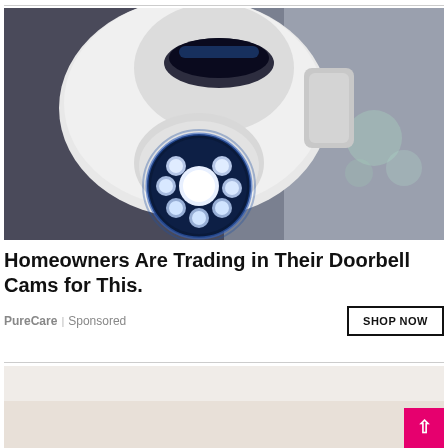[Figure (photo): Close-up photo of a white smart security camera with blue LED ring lights glowing, mounted on a ceiling or wall, viewed from below at an angle.]
Homeowners Are Trading in Their Doorbell Cams for This.
PureCare | Sponsored
[Figure (photo): Partial view of a bedroom scene with light pink/beige tones, partially cropped at the bottom of the page.]